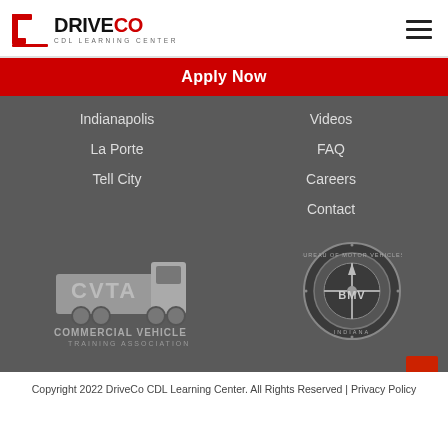DRIVECO CDL LEARNING CENTER
Apply Now
Indianapolis
La Porte
Tell City
Videos
FAQ
Careers
Contact
[Figure (logo): CVTA Commercial Vehicle Training Association logo with truck graphic]
[Figure (logo): Indiana Bureau of Motor Vehicles BMV seal/badge logo]
Copyright 2022 DriveCo CDL Learning Center. All Rights Reserved | Privacy Policy